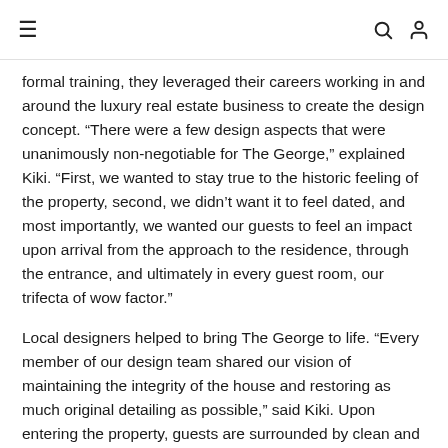≡   🔍 👤
formal training, they leveraged their careers working in and around the luxury real estate business to create the design concept. “There were a few design aspects that were unanimously non-negotiable for The George,” explained Kiki. “First, we wanted to stay true to the historic feeling of the property, second, we didn’t want it to feel dated, and most importantly, we wanted our guests to feel an impact upon arrival from the approach to the residence, through the entrance, and ultimately in every guest room, our trifecta of wow factor.”
Local designers helped to bring The George to life. “Every member of our design team shared our vision of maintaining the integrity of the house and restoring as much original detailing as possible,” said Kiki. Upon entering the property, guests are surrounded by clean and contemporary white walls, original braided inlay hardwood floors, ornate woodwork on the grand staircase, and twin iron cage crystal chandeliers overhead. The woodwork on both fireplaces in the common areas was preserved and restored, and all guest rooms boast the original